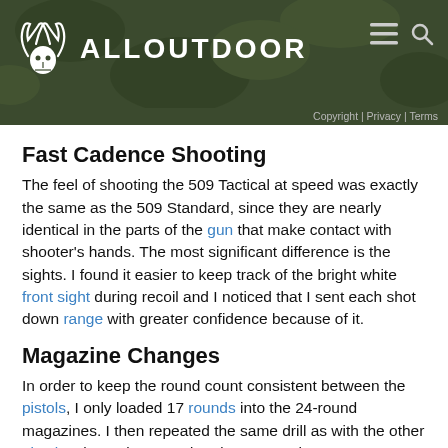ALLOUTDOOR
Copyright | Privacy | Terms
Fast Cadence Shooting
The feel of shooting the 509 Tactical at speed was exactly the same as the 509 Standard, since they are nearly identical in the parts of the gun that make contact with shooter's hands. The most significant difference is the sights. I found it easier to keep track of the bright white front sight during recoil and I noticed that I sent each shot down range with greater confidence because of it.
Magazine Changes
In order to keep the round count consistent between the pistols, I only loaded 17 rounds into the 24-round magazines. I then repeated the same drill as with the other pistols, alternating speed and accuracy.